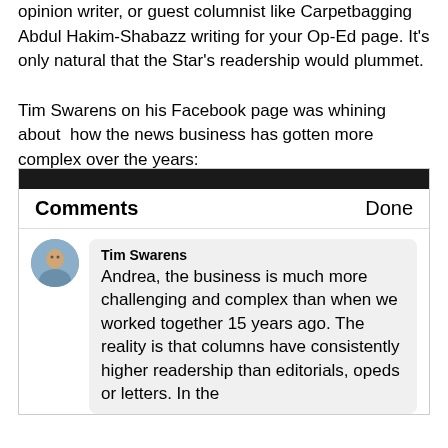opinion writer, or guest columnist like Carpetbagging Abdul Hakim-Shabazz writing for your Op-Ed page. It's only natural that the Star's readership would plummet.
Tim Swarens on his Facebook page was whining about how the news business has gotten more complex over the years:
[Figure (screenshot): Screenshot of a Facebook comments panel showing 'Comments' and 'Done' header, with a comment by Tim Swarens: 'Andrea, the business is much more challenging and complex than when we worked together 15 years ago. The reality is that columns have consistently higher readership than editorials, opeds or letters. In the']